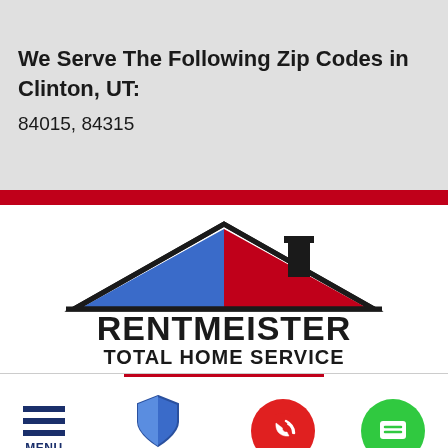We Serve The Following Zip Codes in Clinton, UT:
84015, 84315
[Figure (logo): Rentmeister Total Home Service logo with a house roofline divided into blue and red triangles, chimney, and bold black text reading RENTMEISTER TOTAL HOME SERVICE]
[Figure (infographic): Bottom navigation bar with hamburger menu icon labeled MENU, a shield icon labeled MAINTENANCE, a red circle with phone/call icon, and a green circle with message/chat icon]